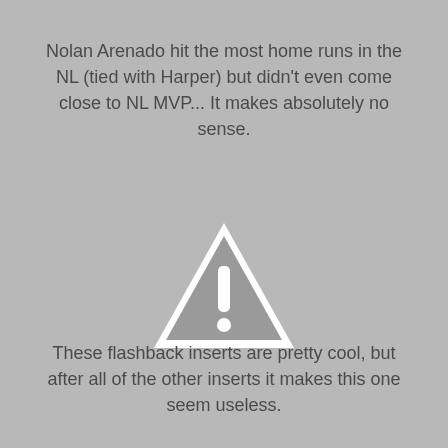Nolan Arenado hit the most home runs in the NL (tied with Harper) but didn't even come close to NL MVP... It makes absolutely no sense.
[Figure (illustration): Warning triangle icon with exclamation mark, gray with white outline and white exclamation symbol]
These flashback inserts are pretty cool, but after all of the other inserts it makes this one seem useless.